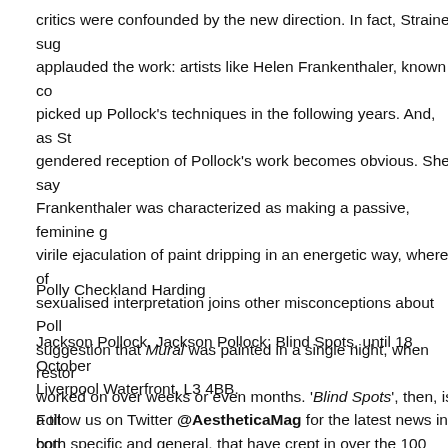critics were confounded by the new direction. In fact, Straine sug applauded the work: artists like Helen Frankenthaler, known co picked up Pollock's techniques in the following years. And, as St gendered reception of Pollock's work becomes obvious. She say Frankenthaler was characterized as making a passive, feminine g virile ejaculation of paint dripping in an energetic way, where of sexualised interpretation joins other misconceptions about Poll suggestion that Mural was painted in a single night, when restor worked on over weeks or even months. 'Blind Spots', then, is a tit both specific and general, that have crept in over the 100 years s
Polly Checkland Harding
Jackson Pollock, Jackson Pollock: Blind Spots, until 18 October Liverpool Waterfront, L3 4BB.
Follow us on Twitter @AestheticaMag for the latest news in con